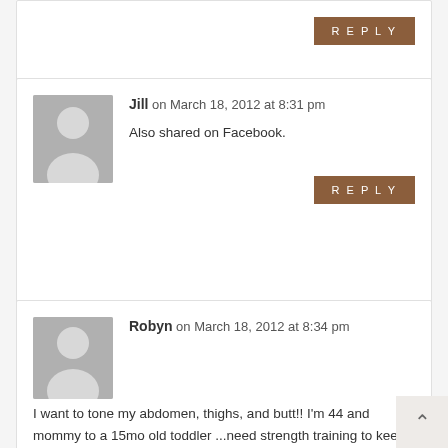REPLY
Jill on March 18, 2012 at 8:31 pm
Also shared on Facebook.
REPLY
Robyn on March 18, 2012 at 8:34 pm
I want to tone my abdomen, thighs, and butt!! I'm 44 and mommy to a 15mo old toddler ...need strength training to keep up with my little guy!
REPLY